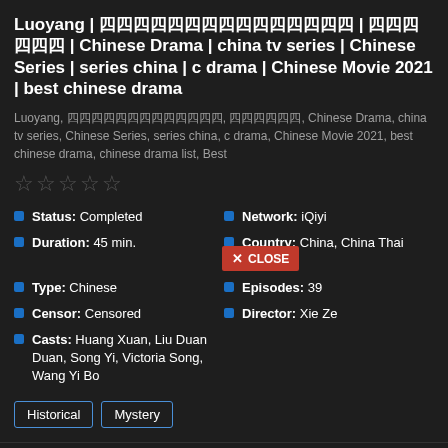Luoyang | 镇魂街之铸魂师 | 洛阳 | Chinese Drama | china tv series | Chinese Series | series china | c drama | Chinese Movie 2021 | best chinese drama
Luoyang, 镇魂街之铸魂师, 洛阳, Chinese Drama, china tv series, Chinese Series, series china, c drama, Chinese Movie 2021, best chinese drama, chinese drama list, Best
Status: Completed | Network: iQiyi | Duration: 45 min. | Country: China, China Thai Subtitles | Type: Chinese | Episodes: 39 | Censor: Censored | Director: Xie Ze | Casts: Huang Xuan, Liu Duan Duan, Song Yi, Victoria Song, Wang Yi Bo
[Figure (other): CLOSE button overlay]
Historical  Mystery
Luoyang | 镇魂街之铸魂师 | 洛阳 | Chinese Drama | china tv series | Chinese